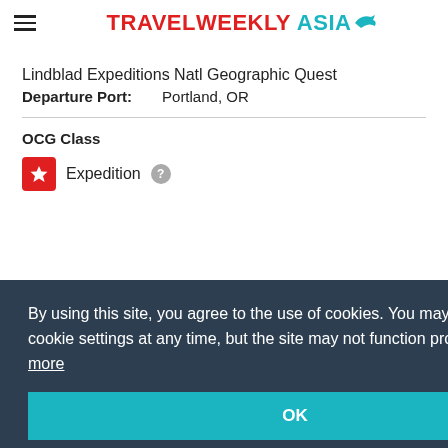TRAVEL WEEKLY ASIA
Lindblad Expeditions Natl Geographic Quest
Departure Port: Portland, OR
OCG Class
Expedition
By using this site, you agree to the use of cookies. You may change your cookie settings at any time, but the site may not function properly. Learn more
OK